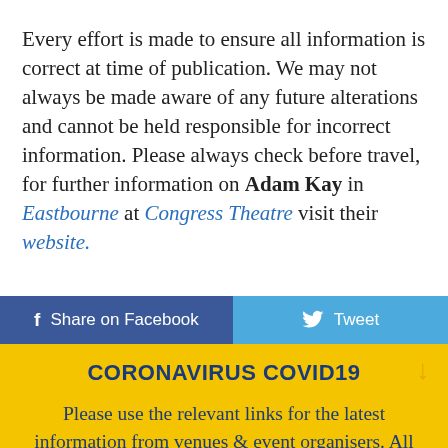Every effort is made to ensure all information is correct at time of publication. We may not always be made aware of any future alterations and cannot be held responsible for incorrect information. Please always check before travel, for further information on Adam Kay in Eastbourne at Congress Theatre visit their website.
[Figure (screenshot): Social sharing buttons: 'Share on Facebook' (dark blue) and 'Tweet' (light blue) side by side]
CORONAVIRUS COVID19
Please use the relevant links for the latest information from venues & event organisers. All information on this website is given as a guide only and is subject to change.